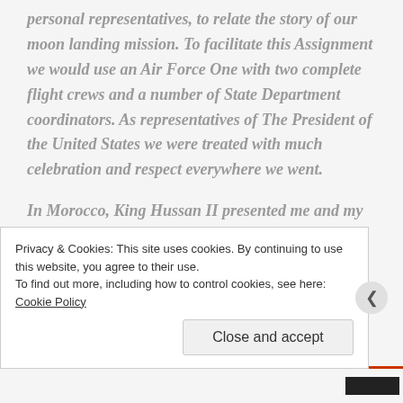personal representatives, to relate the story of our moon landing mission. To facilitate this Assignment we would use an Air Force One with two complete flight crews and a number of State Department coordinators. As representatives of The President of the United States we were treated with much celebration and respect everywhere we went.

In Morocco, King Hussan II presented me and my wife Sue with, among many other
Privacy & Cookies: This site uses cookies. By continuing to use this website, you agree to their use.
To find out more, including how to control cookies, see here: Cookie Policy
Close and accept